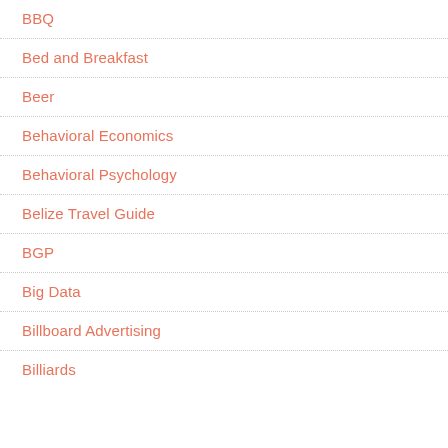BBQ
Bed and Breakfast
Beer
Behavioral Economics
Behavioral Psychology
Belize Travel Guide
BGP
Big Data
Billboard Advertising
Billiards